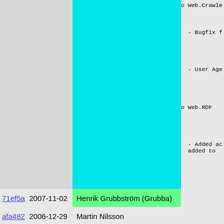o Web.Crawle
- Bugfix f
- User Age
o Web.RDF
- Added ac added to
| hash | date | author | content |
| --- | --- | --- | --- |
| 71ef5a | 2007-11-02 | Henrik Grubbström (Grubba) |  |
| afa482 | 2006-12-29 | Martin Nilsson |  |
| 2f5dd4 | 2008-06-29 | Martin Nilsson | New modules ----------- |
| afa482 | 2006-12-29 | Martin Nilsson |  |
| 5a46c7 | 2008-06-29 | Per Hedbor | o Fuse FUSE (File userspace kernel (an method for filesyste This modu write a FU |